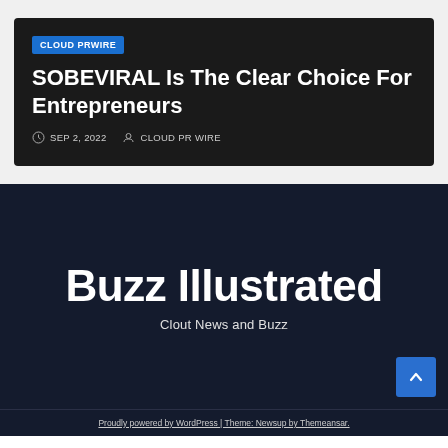CLOUD PRWIRE
SOBEVIRAL Is The Clear Choice For Entrepreneurs
SEP 2, 2022   CLOUD PR WIRE
Buzz Illustrated
Clout News and Buzz
Proudly powered by WordPress | Theme: Newsup by Themeansar.